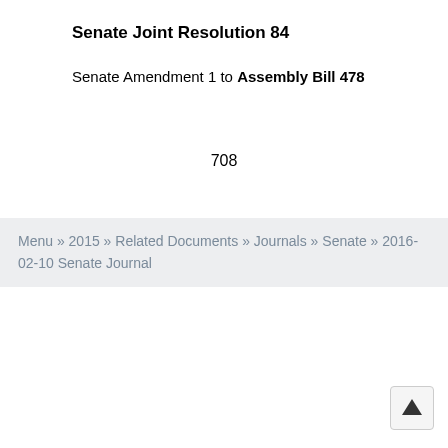Senate Joint Resolution 84
Senate Amendment 1 to Assembly Bill 478
708
Menu » 2015 » Related Documents » Journals » Senate » 2016-02-10 Senate Journal